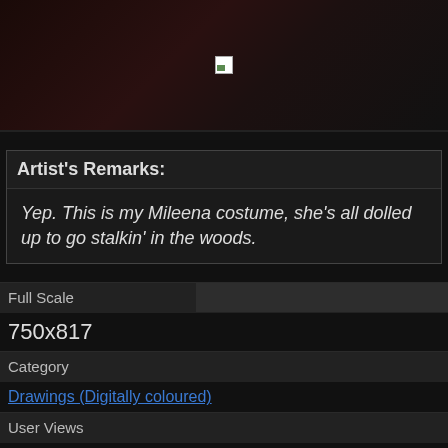[Figure (photo): Dark reddish-brown image banner with a broken image icon in the center]
Artist's Remarks:
Yep. This is my Mileena costume, she's all dolled up to go stalkin' in the woods.
| Full Scale |  |
| --- | --- |
| 750x817 |  |
| Category |  |
| Drawings (Digitally coloured) |  |
| User Views |  |
| 1346 |  |
| User Likes |  |
| 0 |  |
| User Ratings |  |